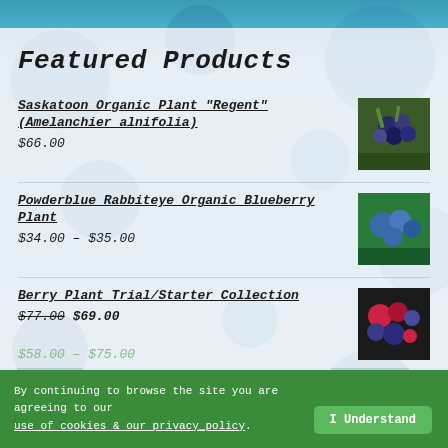Featured Products
Saskatoon Organic Plant "Regent" (Amelanchier alnifolia) — $66.00
Powderblue Rabbiteye Organic Blueberry Plant — $34.00 – $35.00
Berry Plant Trial/Starter Collection — $77.00 $69.00
Organic Dawn Redwood tree — $58.00 – $75.00
By continuing to browse the site you are agreeing to our use of cookies & our privacy_policy. I Understand